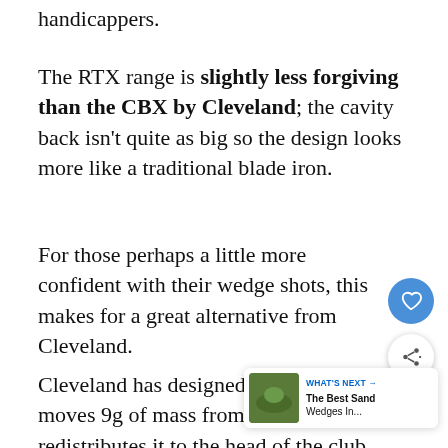handicappers.
The RTX range is slightly less forgiving than the CBX by Cleveland; the cavity back isn't quite as big so the design looks more like a traditional blade iron.
For those perhaps a little more confident with their wedge shots, this makes for a great alternative from Cleveland.
Cleveland has designed it in a way that moves 9g of mass from the hosel redistributes it to the head of the club.